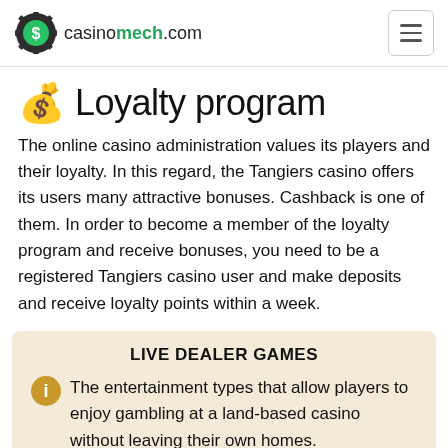casinomech.com
💰 Loyalty program
The online casino administration values its players and their loyalty. In this regard, the Tangiers casino offers its users many attractive bonuses. Cashback is one of them. In order to become a member of the loyalty program and receive bonuses, you need to be a registered Tangiers casino user and make deposits and receive loyalty points within a week.
LIVE DEALER GAMES
The entertainment types that allow players to enjoy gambling at a land-based casino without leaving their own homes.